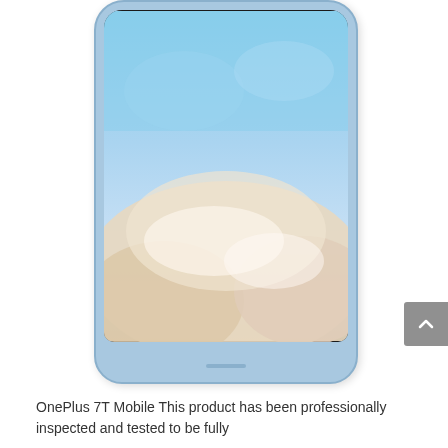[Figure (photo): OnePlus 7T smartphone showing the bottom half of the device with a sky and clouds wallpaper visible on the screen. The phone body is light blue. A gray scroll-to-top button is visible on the right edge.]
OnePlus 7T Mobile This product has been professionally inspected and tested to be fully